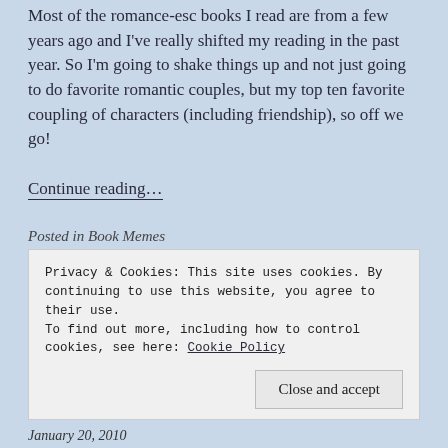Most of the romance-esc books I read are from a few years ago and I've really shifted my reading in the past year. So I'm going to shake things up and not just going to do favorite romantic couples, but my top ten favorite coupling of characters (including friendship), so off we go!
Continue reading...
Posted in Book Memes
Privacy & Cookies: This site uses cookies. By continuing to use this website, you agree to their use.
To find out more, including how to control cookies, see here: Cookie Policy
Close and accept
January 20, 2010